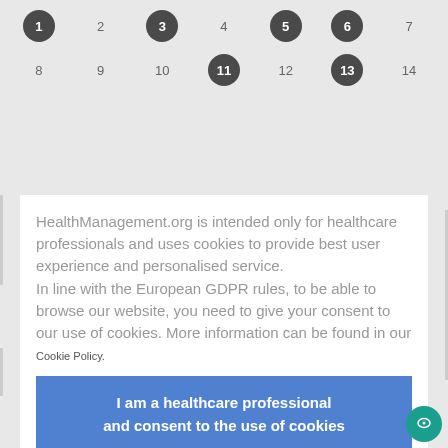1 2 3 4 5 6 7 8 9 10 11 12 13 14
HealthManagement.org is intended only for healthcare professionals and uses cookies to provide best user experience and personalised service.
In line with the European GDPR rules, to be able to browse our website, you need to give your consent to our use of cookies. More information can be found in our Cookie Policy.
I am a healthcare professional and consent to the use of cookies